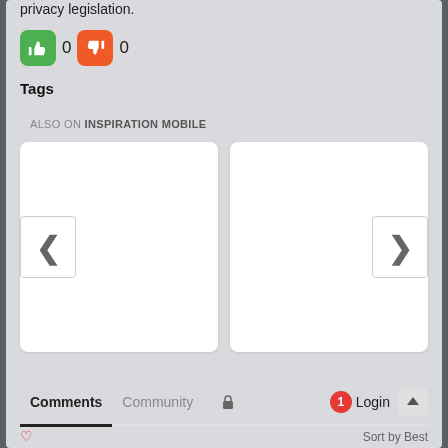privacy legislation.
[Figure (screenshot): Thumbs up (green) and thumbs down (orange) vote buttons, each showing count 0]
Tags
ALSO ON INSPIRATION MOBILE
[Figure (screenshot): Carousel with two white card panels; left panel has a left chevron navigation button, right panel has a right chevron navigation button]
Comments  Community  [lock icon]  [1 notification] Login  [up arrow]
Sort by Best